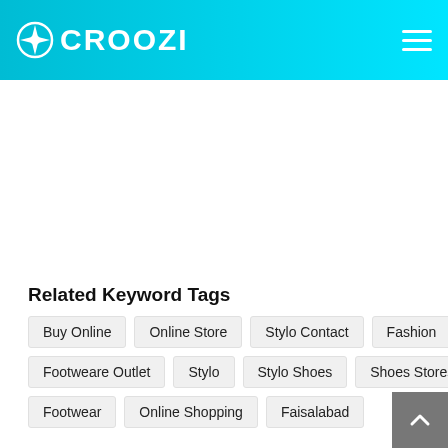CROOZI
Related Keyword Tags
Buy Online
Online Store
Stylo Contact
Fashion
Footweare Outlet
Stylo
Stylo Shoes
Shoes Stores
Footwear
Online Shopping
Faisalabad